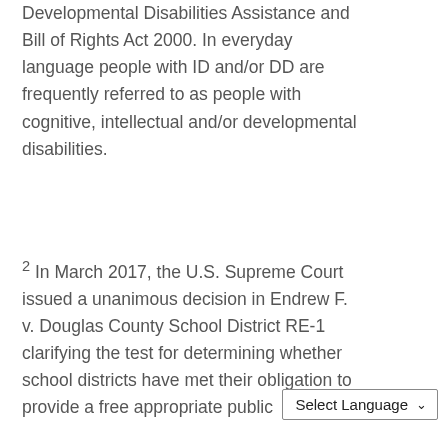Developmental Disabilities Assistance and Bill of Rights Act 2000. In everyday language people with ID and/or DD are frequently referred to as people with cognitive, intellectual and/or developmental disabilities.
2 In March 2017, the U.S. Supreme Court issued a unanimous decision in Endrew F. v. Douglas County School District RE-1 clarifying the test for determining whether school districts have met their obligation to provide a free appropriate public